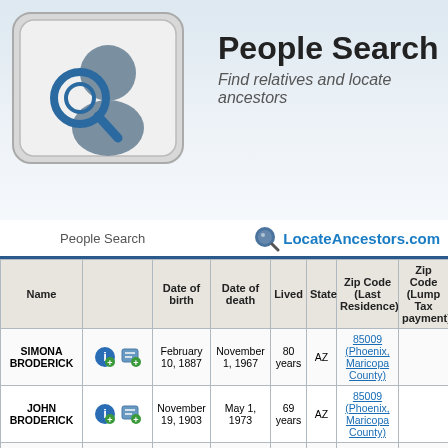People Search
Find relatives and locate ancestors
People Search | LocateAncestors.com
| Name |  | Date of birth | Date of death | Lived | State | Zip Code (Last Residence) | Zip Code (Lump Tax payment) |
| --- | --- | --- | --- | --- | --- | --- | --- |
| SIMONA BRODERICK |  | February 10, 1887 | November 1, 1967 | 80 years | AZ | 85009 (Phoenix, Maricopa County) |  |
| JOHN BRODERICK |  | November 19, 1903 | May 1, 1973 | 69 years | AZ | 85009 (Phoenix, Maricopa County) |  |
| JOHN BRODERICK |  | June 3, 1904 | August 1, 1973 | 69 years | AZ | 85351 (Sun City, Maricopa County) |  |
| JEWEL BRODERICK |  | February 5, 1898 | January 1, 1976 | 77 years | AZ | 85018 (Phoenix, Maricopa County) |  |